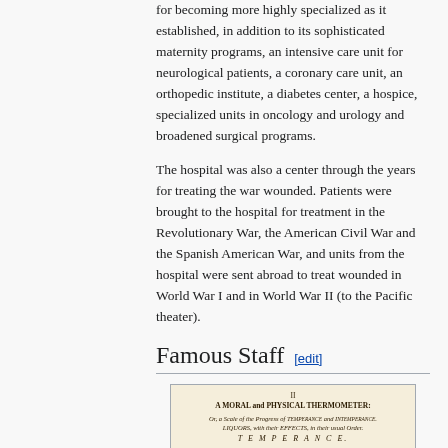for becoming more highly specialized as it established, in addition to its sophisticated maternity programs, an intensive care unit for neurological patients, a coronary care unit, an orthopedic institute, a diabetes center, a hospice, specialized units in oncology and urology and broadened surgical programs.
The hospital was also a center through the years for treating the war wounded. Patients were brought to the hospital for treatment in the Revolutionary War, the American Civil War and the Spanish American War, and units from the hospital were sent abroad to treat wounded in World War I and in World War II (to the Pacific theater).
Famous Staff [edit]
[Figure (illustration): A Moral and Physical Thermometer illustration — an old printed document showing a thermometer scale with labels for Temperance on one side and various health and moral outcomes on the other.]